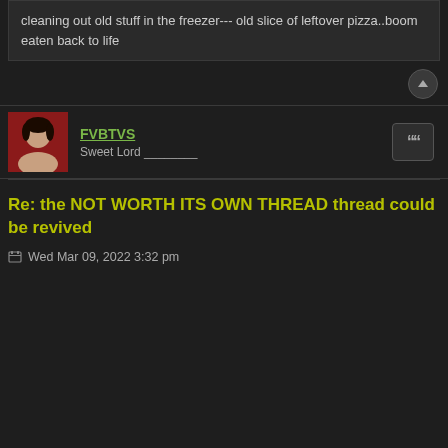cleaning out old stuff in the freezer--- old slice of leftover pizza..boom eaten back to life
[Figure (other): User avatar photo of FVBTVS - person with dark hair, red background]
FVBTVS
Sweet Lord ________
Re: the NOT WORTH ITS OWN THREAD thread could be revived
Wed Mar 09, 2022 3:32 pm